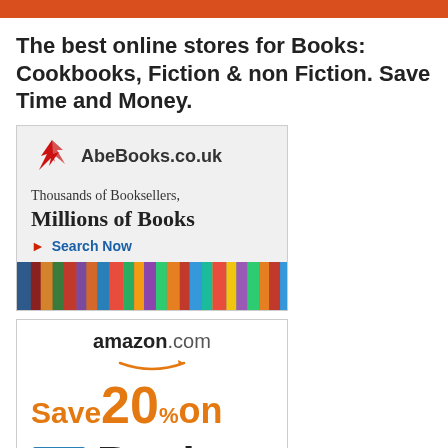The best online stores for Books: Cookbooks, Fiction & non Fiction. Save Time and Money.
[Figure (illustration): AbeBooks.co.uk advertisement banner showing logo with red bird, text 'Thousands of Booksellers, Millions of Books', a 'Search Now' link, and a strip of colorful book spines at the bottom.]
[Figure (illustration): Amazon.com advertisement banner showing amazon logo with smile arrow, and text 'Save Up to 20% on Books' with a stack of books image.]